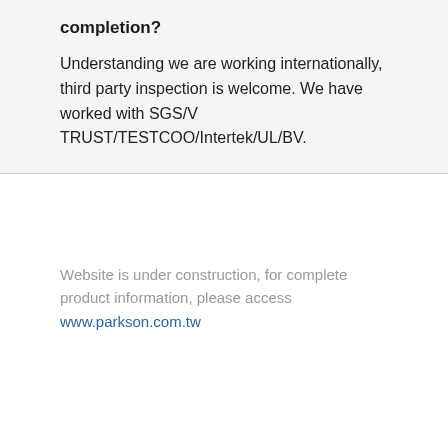completion?
Understanding we are working internationally, third party inspection is welcome. We have worked with SGS/V TRUST/TESTCOO/Intertek/UL/BV.
Website is under construction, for complete product information, please access www.parkson.com.tw